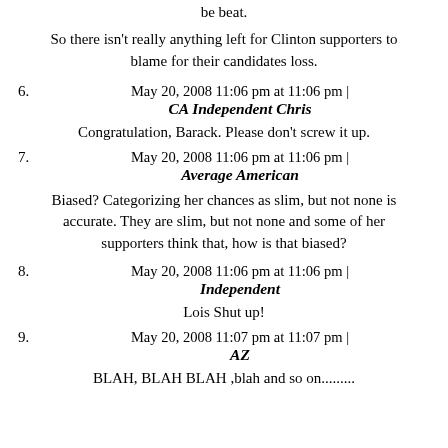be beat.
So there isn't really anything left for Clinton supporters to blame for their candidates loss.
May 20, 2008 11:06 pm at 11:06 pm |
CA Independent Chris
Congratulation, Barack. Please don't screw it up.
May 20, 2008 11:06 pm at 11:06 pm |
Average American
Biased? Categorizing her chances as slim, but not none is accurate. They are slim, but not none and some of her supporters think that, how is that biased?
May 20, 2008 11:06 pm at 11:06 pm |
Independent
Lois Shut up!
May 20, 2008 11:07 pm at 11:07 pm |
AZ
BLAH, BLAH BLAH ,blah and so on.........